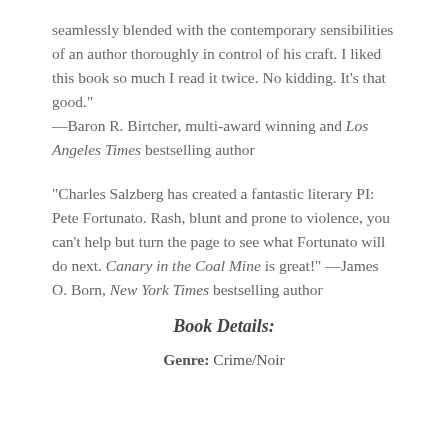seamlessly blended with the contemporary sensibilities of an author thoroughly in control of his craft. I liked this book so much I read it twice. No kidding. It’s that good.” —Baron R. Birtcher, multi-award winning and Los Angeles Times bestselling author
“Charles Salzberg has created a fantastic literary PI: Pete Fortunato. Rash, blunt and prone to violence, you can’t help but turn the page to see what Fortunato will do next. Canary in the Coal Mine is great!” —James O. Born, New York Times bestselling author
Book Details:
Genre: Crime/Noir